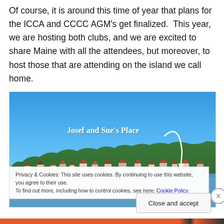Of course, it is around this time of year that plans for the ICCA and CCCC AGM's get finalized. This year, we are hosting both clubs, and we are excited to share Maine with all the attendees, but moreover, to host those that are attending on the island we call home.
[Figure (photo): Aerial/waterfront photograph of a Maine coastal town with trees and houses along the waterline, sky in background. White handwritten-style text label 'Josef and Sue's Place' with a curved arrow pointing down to a location among the houses.]
Privacy & Cookies: This site uses cookies. By continuing to use this website, you agree to their use.
To find out more, including how to control cookies, see here: Cookie Policy
Close and accept